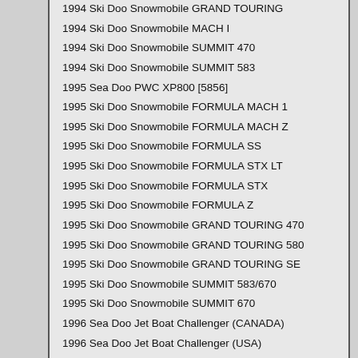1994 Ski Doo Snowmobile GRAND TOURING
1994 Ski Doo Snowmobile MACH I
1994 Ski Doo Snowmobile SUMMIT 470
1994 Ski Doo Snowmobile SUMMIT 583
1995 Sea Doo PWC XP800 [5856]
1995 Ski Doo Snowmobile FORMULA MACH 1
1995 Ski Doo Snowmobile FORMULA MACH Z
1995 Ski Doo Snowmobile FORMULA SS
1995 Ski Doo Snowmobile FORMULA STX LT
1995 Ski Doo Snowmobile FORMULA STX
1995 Ski Doo Snowmobile FORMULA Z
1995 Ski Doo Snowmobile GRAND TOURING 470
1995 Ski Doo Snowmobile GRAND TOURING 580
1995 Ski Doo Snowmobile GRAND TOURING SE
1995 Ski Doo Snowmobile SUMMIT 583/670
1995 Ski Doo Snowmobile SUMMIT 670
1996 Sea Doo Jet Boat Challenger (CANADA)
1996 Sea Doo Jet Boat Challenger (USA)
1996 Sea Doo PWC GSX [5620]
1996 Sea Doo PWC GTX [5640]
1996 Sea Doo PWC XP [5858]
1996 Ski Doo Snowmobile FORMULA III LT